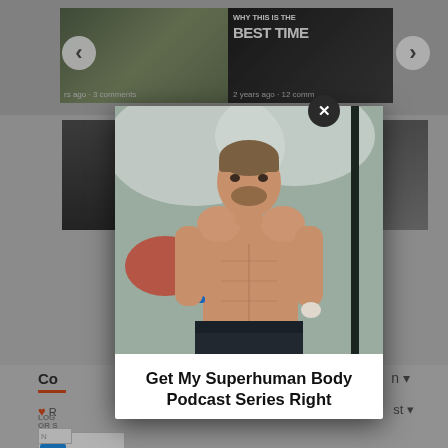[Figure (screenshot): Background page showing thumbnail image strip at top with left/right navigation arrows, left sidebar with comments section, heart/like icon, login input box, and a modal dialog overlay]
[Figure (photo): Fitness/health photo of a shirtless muscular man with short hair and beard, standing outdoors against a snowy blurred background, wearing dark shorts and a blue fitness tracker on his wrist, holding something in his right hand, next to a dark pole]
Get My Superhuman Body Podcast Series Right